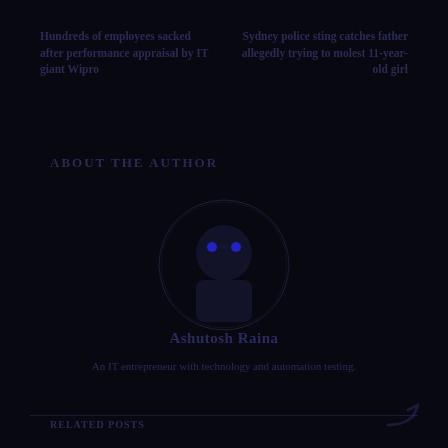Hundreds of employees sacked after performance appraisal by IT giant Wipro
Sydney police sting catches father allegedly trying to molest 11-year-old girl
ABOUT THE AUTHOR
[Figure (illustration): Circular author avatar placeholder with two blue dots for eyes and dark body silhouette]
Ashutosh Raina
An IT entrepreneur with technology and automation testing.
RELATED POSTS